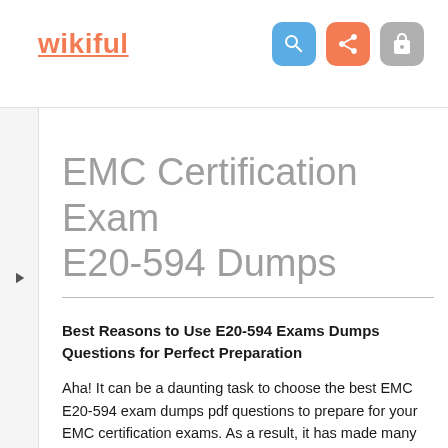wikiful
EMC Certification Exam E20-594 Dumps
Best Reasons to Use E20-594 Exams Dumps Questions for Perfect Preparation
Aha! It can be a daunting task to choose the best EMC E20-594 exam dumps pdf questions to prepare for your EMC certification exams. As a result, it has made many people label Backup and Recovery - Avamar Specialist Exam for Implementation Engineers E20-594 dumps as